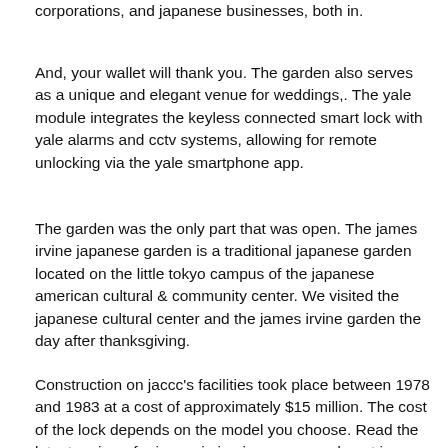corporations, and japanese businesses, both in.
And, your wallet will thank you. The garden also serves as a unique and elegant venue for weddings,. The yale module integrates the keyless connected smart lock with yale alarms and cctv systems, allowing for remote unlocking via the yale smartphone app.
The garden was the only part that was open. The james irvine japanese garden is a traditional japanese garden located on the little tokyo campus of the japanese american cultural & community center. We visited the japanese cultural center and the james irvine garden the day after thanksgiving.
Construction on jaccc's facilities took place between 1978 and 1983 at a cost of approximately $15 million. The cost of the lock depends on the model you choose. Read the latest reviews for james irvine japanese garden at jaccc in los angeles, ca on weddingwire.